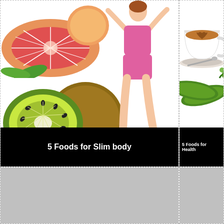[Figure (photo): Left top panel showing grapefruit slices, kiwi fruits, and a slim woman in pink outfit with black caption bar reading '5 Foods for Slim body']
5 Foods for Slim body
[Figure (photo): Right top panel showing a cappuccino cup with heart latte art, cucumbers and parsley, with black caption bar reading '5 Foods for Health']
5 Foods for Health
[Figure (photo): Bottom left grey placeholder panel]
[Figure (photo): Bottom right grey placeholder panel]